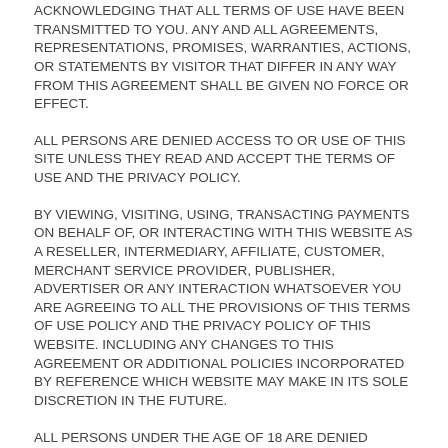ACKNOWLEDGING THAT ALL TERMS OF USE HAVE BEEN TRANSMITTED TO YOU. ANY AND ALL AGREEMENTS, REPRESENTATIONS, PROMISES, WARRANTIES, ACTIONS, OR STATEMENTS BY VISITOR THAT DIFFER IN ANY WAY FROM THIS AGREEMENT SHALL BE GIVEN NO FORCE OR EFFECT.
ALL PERSONS ARE DENIED ACCESS TO OR USE OF THIS SITE UNLESS THEY READ AND ACCEPT THE TERMS OF USE AND THE PRIVACY POLICY.
BY VIEWING, VISITING, USING, TRANSACTING PAYMENTS ON BEHALF OF, OR INTERACTING WITH THIS WEBSITE AS A RESELLER, INTERMEDIARY, AFFILIATE, CUSTOMER, MERCHANT SERVICE PROVIDER, PUBLISHER, ADVERTISER OR ANY INTERACTION WHATSOEVER YOU ARE AGREEING TO ALL THE PROVISIONS OF THIS TERMS OF USE POLICY AND THE PRIVACY POLICY OF THIS WEBSITE. INCLUDING ANY CHANGES TO THIS AGREEMENT OR ADDITIONAL POLICIES INCORPORATED BY REFERENCE WHICH WEBSITE MAY MAKE IN ITS SOLE DISCRETION IN THE FUTURE.
ALL PERSONS UNDER THE AGE OF 18 ARE DENIED ACCESS TO THIS WEBSITE. IF YOU ARE UNDER 18 YEARS OF AGE, IT IS